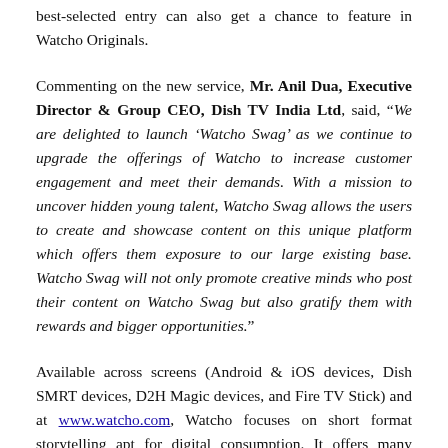best-selected entry can also get a chance to feature in Watcho Originals.
Commenting on the new service, Mr. Anil Dua, Executive Director & Group CEO, Dish TV India Ltd, said, "We are delighted to launch 'Watcho Swag' as we continue to upgrade the offerings of Watcho to increase customer engagement and meet their demands. With a mission to uncover hidden young talent, Watcho Swag allows the users to create and showcase content on this unique platform which offers them exposure to our large existing base. Watcho Swag will not only promote creative minds who post their content on Watcho Swag but also gratify them with rewards and bigger opportunities."
Available across screens (Android & iOS devices, Dish SMRT devices, D2H Magic devices, and Fire TV Stick) and at www.watcho.com, Watcho focuses on short format storytelling apt for digital consumption. It offers many original shows including